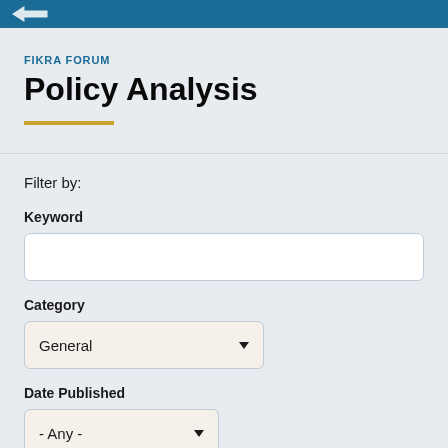FIKRA FORUM header bar
FIKRA FORUM
Policy Analysis
Filter by:
Keyword
Category
General
Date Published
- Any -